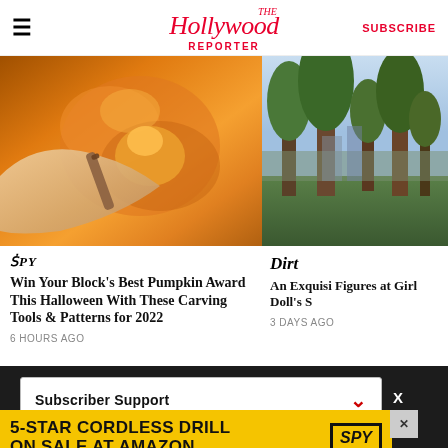The Hollywood Reporter | SUBSCRIBE
[Figure (photo): Close-up photo of hands carving a pumpkin with a tool, orange pumpkin surface with carved details visible]
SPY
Win Your Block's Best Pumpkin Award This Halloween With These Carving Tools & Patterns for 2022
6 HOURS AGO
[Figure (photo): Partial photo of trees and buildings outdoors, green foliage visible]
Dirt
An Exquisi Figures at Girl Doll's S
3 DAYS AGO
Subscriber Support
5-STAR CORDLESS DRILL ON SALE AT AMAZON